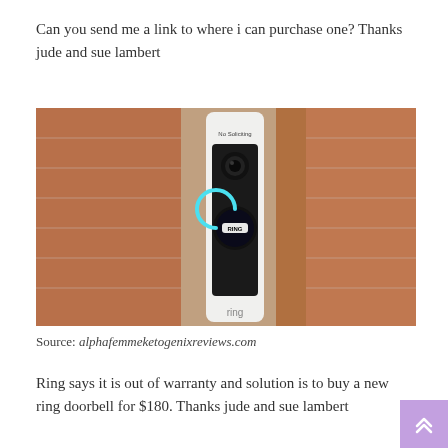Can you send me a link to where i can purchase one? Thanks jude and sue lambert
[Figure (photo): Ring video doorbell mounted on a brick wall. The white doorbell unit shows a camera lens at the top and a circular Ring-branded button with blue LED light in the middle. A 'No Soliciting' sticker is visible at the top of the unit. The word 'ring' is partially visible at the bottom.]
Source: alphafemmeketogenixreviews.com
Ring says it is out of warranty and solution is to buy a new ring doorbell for $180. Thanks jude and sue lambert